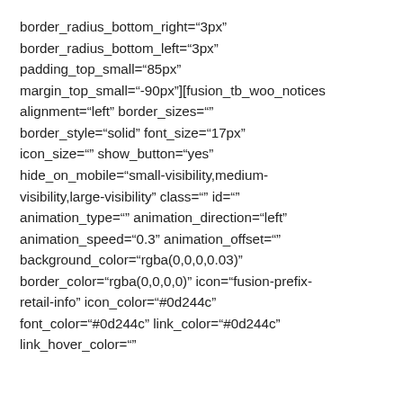border_radius_bottom_right="3px" border_radius_bottom_left="3px" padding_top_small="85px" margin_top_small="-90px"][fusion_tb_woo_notices alignment="left" border_sizes="" border_style="solid" font_size="17px" icon_size="" show_button="yes" hide_on_mobile="small-visibility,medium-visibility,large-visibility" class="" id="" animation_type="" animation_direction="left" animation_speed="0.3" animation_offset="" background_color="rgba(0,0,0,0.03)" border_color="rgba(0,0,0,0)" icon="fusion-prefix-retail-info" icon_color="#0d244c" font_color="#0d244c" link_color="#0d244c" link_hover_color=""